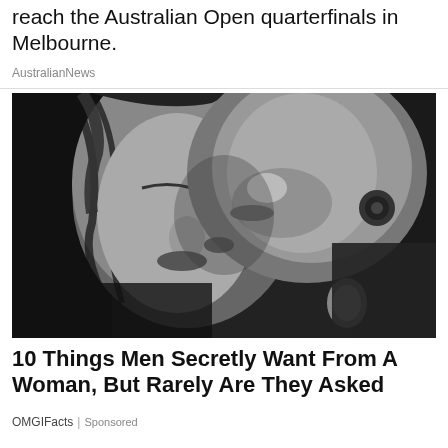reach the Australian Open quarterfinals in Melbourne.
AustralianNews
[Figure (photo): Black and white close-up photo of a man and woman about to kiss, faces very close together, woman has dark curly hair, man has short hair and stubble]
10 Things Men Secretly Want From A Woman, But Rarely Are They Asked
OMGIFacts | Sponsored